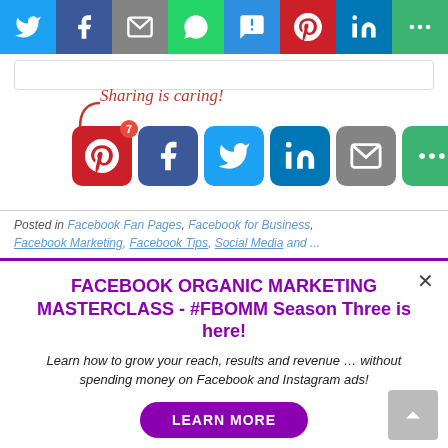[Figure (screenshot): Social media share bar at top with icons: Twitter, Facebook, Email, WhatsApp, SMS, Pinterest, LinkedIn, More]
Sharing is caring!
[Figure (screenshot): Social share buttons row: Pinterest (with badge 7), Facebook, Twitter, LinkedIn, Email, More]
Posted in Facebook Fan Pages, Facebook for Business, Facebook Marketing, Facebook Tips, Social Media and ...
FACEBOOK ORGANIC MARKETING MASTERCLASS - #FBOMM Season Three is here!
Learn how to grow your reach, results and revenue … without spending money on Facebook and Instagram ads!
LEARN MORE